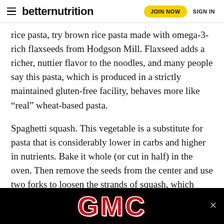betternutrition | JOIN NOW | SIGN IN
rice pasta, try brown rice pasta made with omega-3-rich flaxseeds from Hodgson Mill. Flaxseed adds a richer, nuttier flavor to the noodles, and many people say this pasta, which is produced in a strictly maintained gluten-free facility, behaves more like “real” wheat-based pasta.
Spaghetti squash. This vegetable is a substitute for pasta that is considerably lower in carbs and higher in nutrients. Bake it whole (or cut in half) in the oven. Then remove the seeds from the center and use two forks to loosen the strands of squash, which look like spaghetti. Serve the “pasta” on plates and top with gluten-free pasta sauce, pesto sauce, sautéed chicken or shrimp and vegetables, or organic butter or olive oil and herbs.
[Figure (logo): GMC logo advertisement banner on black background]